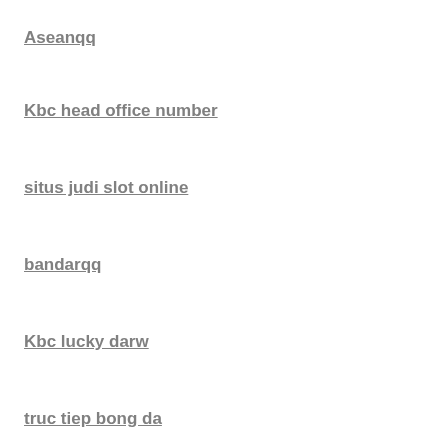Aseanqq
Kbc head office number
situs judi slot online
bandarqq
Kbc lucky darw
truc tiep bong da